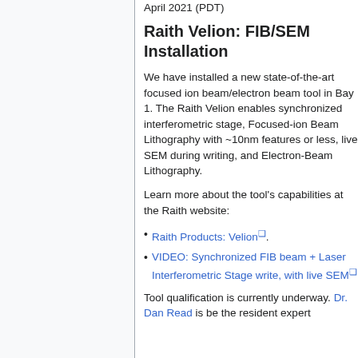April 2021 (PDT)
Raith Velion: FIB/SEM Installation
We have installed a new state-of-the-art focused ion beam/electron beam tool in Bay 1. The Raith Velion enables synchronized interferometric stage, Focused-ion Beam Lithography with ~10nm features or less, live SEM during writing, and Electron-Beam Lithography.
Learn more about the tool's capabilities at the Raith website:
Raith Products: Velion.
VIDEO: Synchronized FIB beam + Laser Interferometric Stage write, with live SEM
Tool qualification is currently underway. Dr. Dan Read is be the resident expert